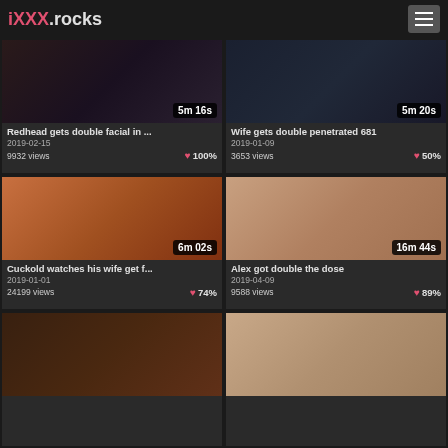iXXX.rocks
[Figure (screenshot): Video thumbnail – dark scene, 5m 16s]
Redhead gets double facial in ...
2019-02-15
9932 views  ♥ 100%
[Figure (screenshot): Video thumbnail – blue tones, 5m 20s]
Wife gets double penetrated 681
2019-01-09
3653 views  ♥ 50%
[Figure (screenshot): Video thumbnail – orange room scene, 6m 02s]
Cuckold watches his wife get f...
2019-01-01
24199 views  ♥ 74%
[Figure (screenshot): Video thumbnail – close-up skin tones, 16m 44s]
Alex got double the dose
2019-04-09
9588 views  ♥ 89%
[Figure (screenshot): Video thumbnail – warm tones, partial view]
[Figure (screenshot): Video thumbnail – skin tones, partial view]